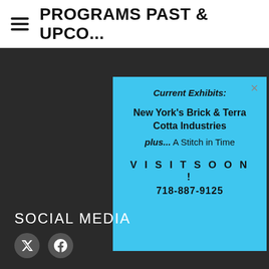PROGRAMS PAST & UPCO...
Current Exhibits:
New York's Brick & Terra Cotta Industries
plus... A Stitch in Time
VISIT SOON!
718-887-9125
SOCIAL MEDIA